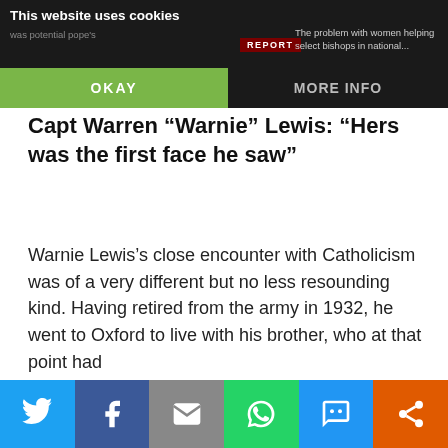This website uses cookies
was potential pope's
The problem with women helping select bishops in national...
OKAY
MORE INFO
Capt Warren “Warnie” Lewis: “Hers was the first face he saw”
Warnie Lewis’s close encounter with Catholicism was of a very different but no less resounding kind. Having retired from the army in 1932, he went to Oxford to live with his brother, who at that point had
Privacy & Cookies: This site uses cookies. By continuing to use this website, you agree to their use.
To find out more, including how to control cookies, see here: Cookie Policy